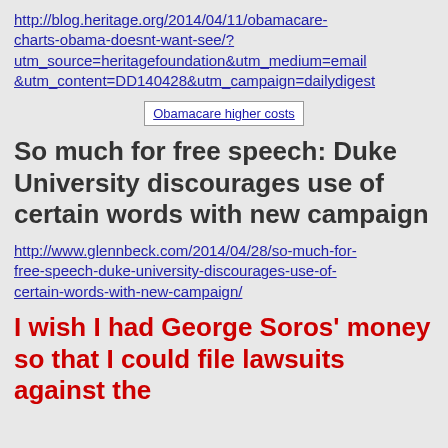http://blog.heritage.org/2014/04/11/obamacare-charts-obama-doesnt-want-see/?utm_source=heritagefoundation&utm_medium=email&utm_content=DD140428&utm_campaign=dailydigest
[Figure (other): Broken image placeholder labeled 'Obamacare higher costs']
So much for free speech: Duke University discourages use of certain words with new campaign
http://www.glennbeck.com/2014/04/28/so-much-for-free-speech-duke-university-discourages-use-of-certain-words-with-new-campaign/
I wish I had George Soros' money so that I could file lawsuits against the